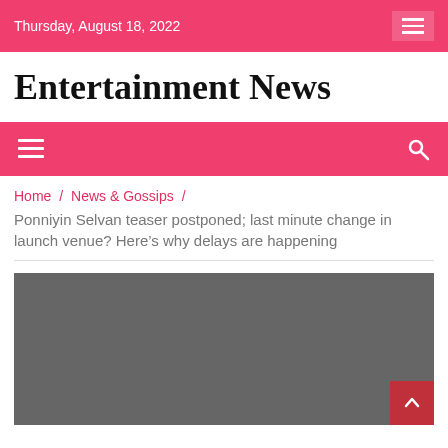Thursday, August 18, 2022
Entertainment News
Home / News & Gossips / Ponniyin Selvan teaser postponed; last minute change in launch venue? Here's why delays are happening
[Figure (photo): Dark grey placeholder image for article, with a back-to-top button in the bottom right corner]